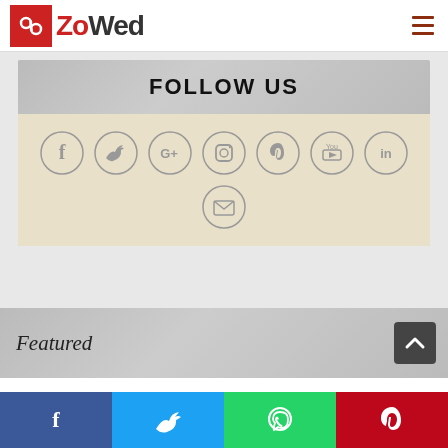[Figure (logo): ZoWed logo with red square icon and text]
FOLLOW US
[Figure (infographic): Social media icons in circles: Facebook, Twitter, Google+, Instagram, Pinterest, YouTube, LinkedIn, Email]
Featured
[Figure (infographic): Bottom social share bar with Facebook, Twitter, WhatsApp, Pinterest buttons]